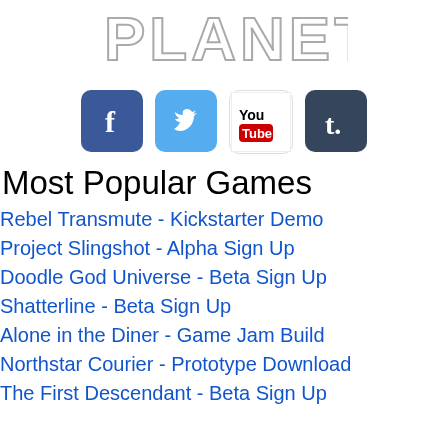[Figure (logo): PLANET text logo in outline/hollow style lettering]
[Figure (infographic): Row of four social media icons: Facebook (blue square with f), Twitter (light blue square with bird), YouTube (white square with YouTube logo), Tumblr (dark blue square with t)]
Most Popular Games
Rebel Transmute - Kickstarter Demo
Project Slingshot - Alpha Sign Up
Doodle God Universe - Beta Sign Up
Shatterline - Beta Sign Up
Alone in the Diner - Game Jam Build
Northstar Courier - Prototype Download
The First Descendant - Beta Sign Up